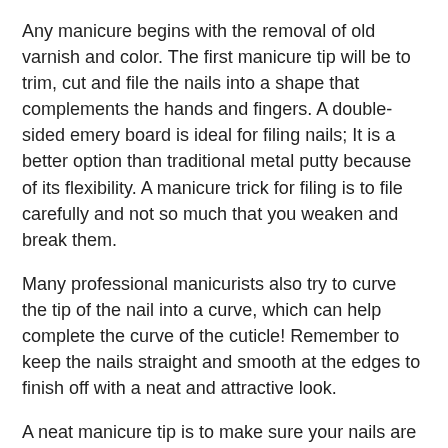Any manicure begins with the removal of old varnish and color. The first manicure tip will be to trim, cut and file the nails into a shape that complements the hands and fingers. A double-sided emery board is ideal for filing nails; It is a better option than traditional metal putty because of its flexibility. A manicure trick for filing is to file carefully and not so much that you weaken and break them.
Many professional manicurists also try to curve the tip of the nail into a curve, which can help complete the curve of the cuticle! Remember to keep the nails straight and smooth at the edges to finish off with a neat and attractive look.
A neat manicure tip is to make sure your nails are soft and easy to work with by soaking them in a bowl of warm water and adding salt, scented oil, or even nail cleanser.
Nails should be cleaned thoroughly with a cotton swab or an orange cotton swab. The cuticles can be softened by using a cuticle cream or hand massage cream so that it is easier for